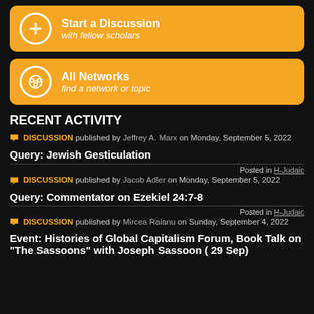Start a Discussion — with fellow scholars
All Networks — find a network or topic
RECENT ACTIVITY
DISCUSSION published by Jeffrey A. Marx on Monday, September 5, 2022
Query: Jewish Gesticulation
Posted in H-Judaic
DISCUSSION published by Jacob Adler on Monday, September 5, 2022
Query: Commentator on Ezekiel 24:7-8
Posted in H-Judaic
DISCUSSION published by Mircea Raianu on Sunday, September 4, 2022
Event: Histories of Global Capitalism Forum, Book Talk on "The Sassoons" with Joseph Sassoon ( 29 Sep)